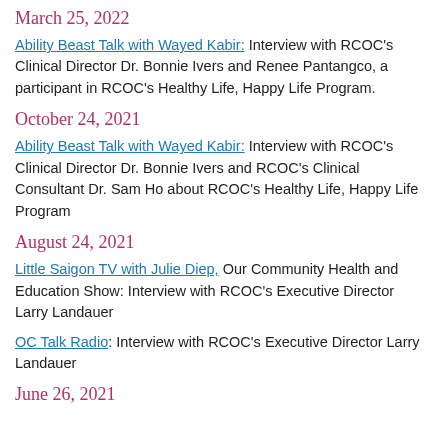March 25, 2022
Ability Beast Talk with Wayed Kabir: Interview with RCOC’s Clinical Director Dr. Bonnie Ivers and Renee Pantangco, a participant in RCOC’s Healthy Life, Happy Life Program.
October 24, 2021
Ability Beast Talk with Wayed Kabir: Interview with RCOC’s Clinical Director Dr. Bonnie Ivers and RCOC’s Clinical Consultant Dr. Sam Ho about RCOC’s Healthy Life, Happy Life Program
August 24, 2021
Little Saigon TV with Julie Diep, Our Community Health and Education Show: Interview with RCOC’s Executive Director Larry Landauer
OC Talk Radio: Interview with RCOC’s Executive Director Larry Landauer
June 26, 2021